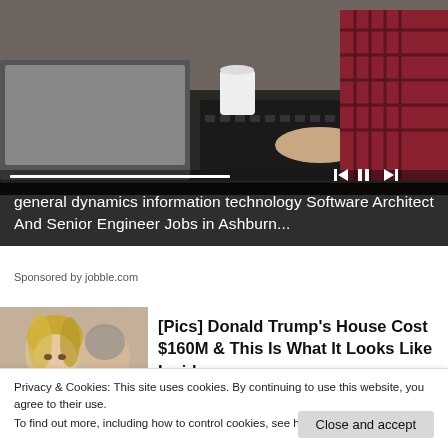[Figure (photo): Person in plaid shirt typing on laptop keyboard at office desk, with another laptop visible in foreground. Media player controls visible at bottom right.]
general dynamics information technology Software Architect And Senior Engineer Jobs in Ashburn...
Sponsored by jobble.com
[Figure (photo): Thumbnail photo showing a woman with blonde hair and a man (resembling Donald Trump) in background.]
[Pics] Donald Trump's House Cost $160M & This Is What It Looks Like Inside
Privacy & Cookies: This site uses cookies. By continuing to use this website, you agree to their use.
To find out more, including how to control cookies, see here: Cookie Policy
Close and accept
[Figure (photo): Small thumbnail image at bottom left.]
Partner